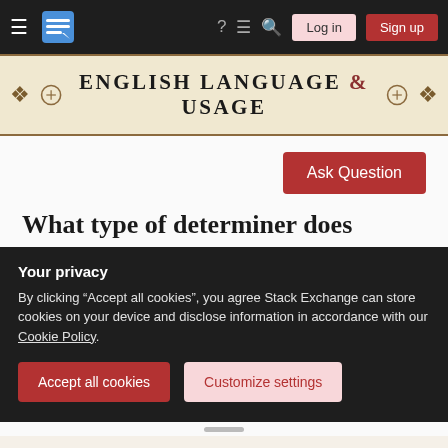English Language & Usage — Stack Exchange navigation bar with Log in and Sign up buttons
ENGLISH LANGUAGE & USAGE
Ask Question
What type of determiner does ‘certain’ belong to? What is the function of this type of determiner? Why do we need to use this
Your privacy
By clicking “Accept all cookies”, you agree Stack Exchange can store cookies on your device and disclose information in accordance with our Cookie Policy.
Accept all cookies
Customize settings